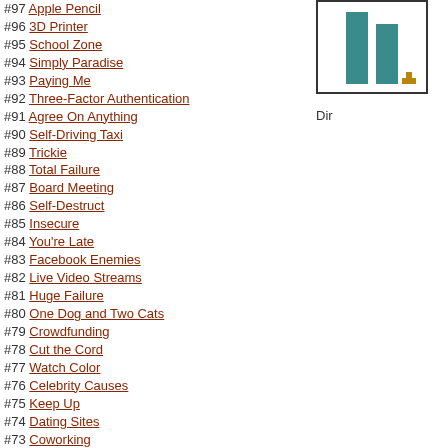#97 Apple Pencil
#96 3D Printer
#95 School Zone
#94 Simply Paradise
#93 Paying Me
#92 Three-Factor Authentication
#91 Agree On Anything
#90 Self-Driving Taxi
#89 Trickie
#88 Total Failure
#87 Board Meeting
#86 Self-Destruct
#85 Insecure
#84 You're Late
#83 Facebook Enemies
#82 Live Video Streams
#81 Huge Failure
#80 One Dog and Two Cats
#79 Crowdfunding
#78 Cut the Cord
#77 Watch Color
#76 Celebrity Causes
#75 Keep Up
#74 Dating Sites
#73 Coworking
#72 Most Common Password
#71 No Phone
#70 You Kids Today
#69 The World's Problems
#68 Replacing Gadgets
[Figure (bar-chart): Partial bar chart showing two teal vertical bars and a small brown/gold element at the bottom right, within a bordered box]